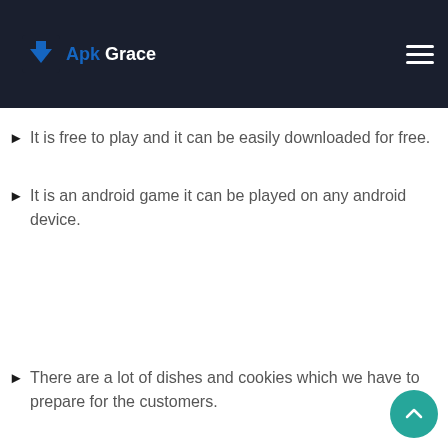Apk Grace
It is free to play and it can be easily downloaded for free.
It is an android game it can be played on any android device.
There are a lot of dishes and cookies which we have to prepare for the customers.